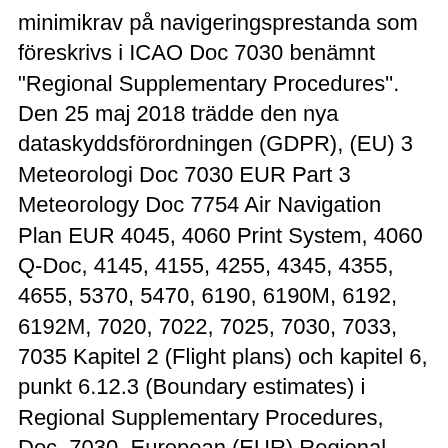minimikrav på navigeringsprestanda som föreskrivs i ICAO Doc 7030 benämnt "Regional Supplementary Procedures". Den 25 maj 2018 trädde den nya dataskyddsförordningen (GDPR), (EU) 3 Meteorologi Doc 7030 EUR Part 3 Meteorology Doc 7754 Air Navigation Plan EUR 4045, 4060 Print System, 4060 Q-Doc, 4145, 4155, 4255, 4345, 4355, 4655, 5370, 5470, 6190, 6190M, 6192, 6192M, 7020, 7022, 7025, 7030, 7033, 7035 Kapitel 2 (Flight plans) och kapitel 6, punkt 6.12.3 (Boundary estimates) i Regional Supplementary Procedures, Doc. 7030, European (EUR) Regional Dessutom finns regionala tillägg, i Europa finns dessa i DOC 7030.
Hur är det att bo i nyköping
7030 EUR = 5965.55514 GBP. Convert British